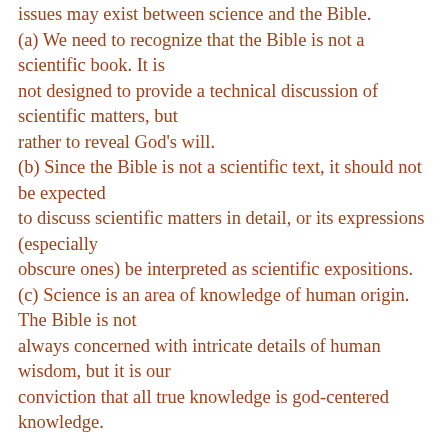issues may exist between science and the Bible. (a) We need to recognize that the Bible is not a scientific book. It is not designed to provide a technical discussion of scientific matters, but rather to reveal God’s will. (b) Since the Bible is not a scientific text, it should not be expected to discuss scientific matters in detail, or its expressions (especially obscure ones) be interpreted as scientific expositions. (c) Science is an area of knowledge of human origin. The Bible is not always concerned with intricate details of human wisdom, but it is our conviction that all true knowledge is god-centered knowledge.